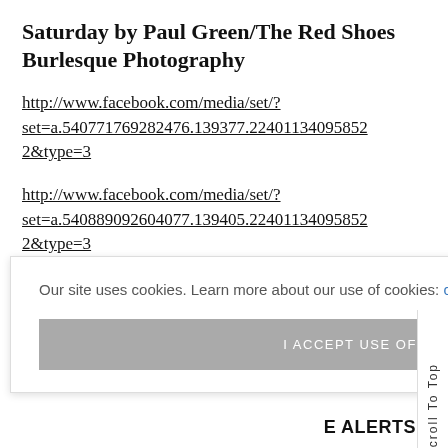Saturday by Paul Green/The Red Shoes Burlesque Photography
http://www.facebook.com/media/set/?set=a.540771769282476.139377.22401134095852 2&type=3
http://www.facebook.com/media/set/?set=a.540889092604077.139405.22401134095852 2&type=3
http://www.facebook.com/media/set/?
Our site uses cookies. Learn more about our use of cookies: cookie policy
I ACCEPT USE OF COOKIES
Scroll To Top
E ALERTS